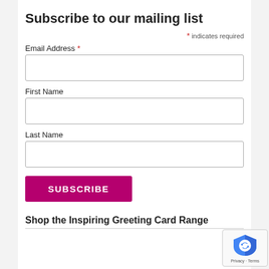Subscribe to our mailing list
* indicates required
Email Address *
First Name
Last Name
SUBSCRIBE
Shop the Inspiring Greeting Card Range
[Figure (logo): reCAPTCHA badge with shield logo and Privacy - Terms text]